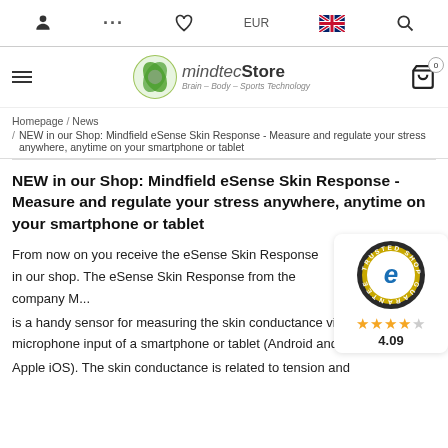person icon  ...  heart icon  EUR  UK flag  search icon
[Figure (logo): MindtecStore logo with hamburger menu and cart icon showing 0 items]
Homepage / News
/ NEW in our Shop: Mindfield eSense Skin Response - Measure and regulate your stress anywhere, anytime on your smartphone or tablet
NEW in our Shop: Mindfield eSense Skin Response - Measure and regulate your stress anywhere, anytime on your smartphone or tablet
[Figure (logo): Trusted Shops guarantee badge with 4.09 star rating (4 full stars, 1 partial star)]
From now on you receive the eSense Skin Response in our shop. The eSense Skin Response from the company M... is a handy sensor for measuring the skin conductance via the microphone input of a smartphone or tablet (Android and Apple iOS). The skin conductance is related to tension and